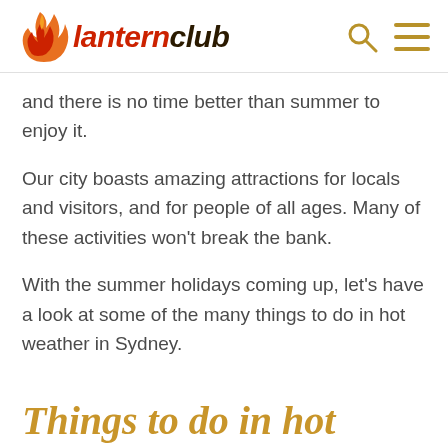lanternclub
and there is no time better than summer to enjoy it.
Our city boasts amazing attractions for locals and visitors, and for people of all ages. Many of these activities won't break the bank.
With the summer holidays coming up, let's have a look at some of the many things to do in hot weather in Sydney.
Things to do in hot